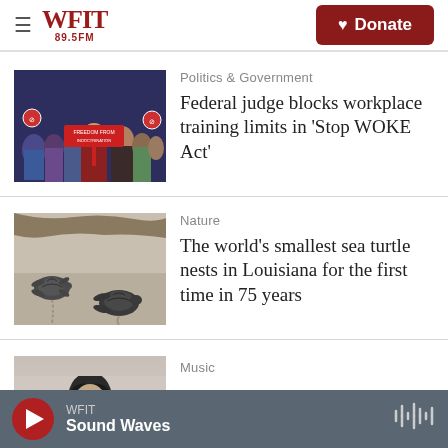WFIT 89.5FM — Donate
[Figure (photo): Group of people at a political event holding signs including 'Freedom From Indoctrination']
Politics & Government
Federal judge blocks workplace training limits in 'Stop WOKE Act'
[Figure (photo): Two small sea turtles on sandy beach]
Nature
The world's smallest sea turtle nests in Louisiana for the first time in 75 years
[Figure (photo): Black and white photo of a person, music section thumbnail]
Music
WFIT — Sound Waves